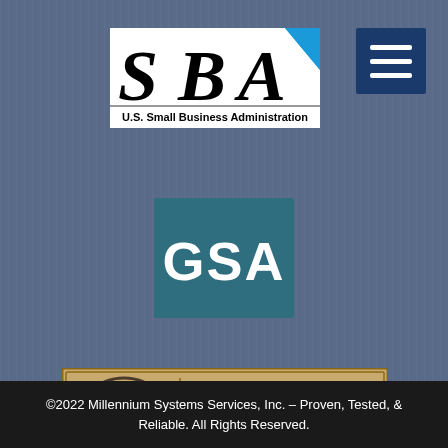[Figure (logo): U.S. Small Business Administration (SBA) logo with large bold black letters SBA and blue geometric triangle accent, subtitle reads U.S. Small Business Administration]
[Figure (logo): Hamburger/menu icon — three white horizontal lines on a dark navy blue square background]
[Figure (logo): GSA (General Services Administration) logo — white letters GSA on a dark teal/blue square background]
[Figure (logo): QSR certification badge with Q-S-R circular logo on left and text: Millenium Systems Services, Huntsville, AL, AS 9100D-QSR-AS-062 on a tan/beige background with dark border]
©2022 Millennium Systems Services, Inc. – Proven, Tested, & Reliable. All Rights Reserved.